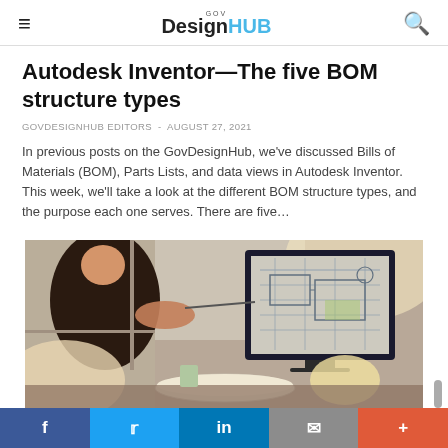GOV DesignHUB
Autodesk Inventor—The five BOM structure types
GOVDESIGNHUB EDITORS  -  AUGUST 27, 2021
In previous posts on the GovDesignHub, we've discussed Bills of Materials (BOM), Parts Lists, and data views in Autodesk Inventor. This week, we'll take a look at the different BOM structure types, and the purpose each one serves. There are five…
[Figure (photo): Two people reviewing engineering blueprints/drawings on a computer monitor, one person pointing at the screen with a pen, engineering drawings also on the desk]
f  t  in  email  +